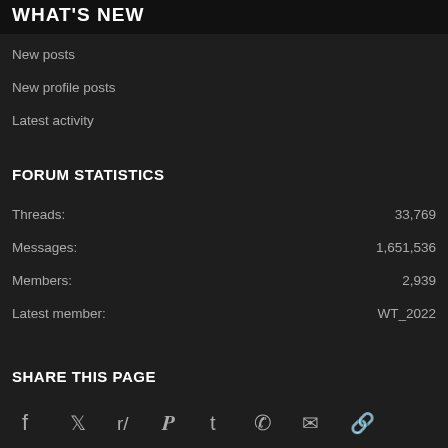WHAT'S NEW
New posts
New profile posts
Latest activity
FORUM STATISTICS
|  |  |
| --- | --- |
| Threads: | 33,769 |
| Messages: | 1,651,536 |
| Members: | 2,939 |
| Latest member: | WT_2022 |
SHARE THIS PAGE
[Figure (infographic): Social media share icons: Facebook, Twitter, Reddit, Pinterest, Tumblr, WhatsApp, Email, Link]